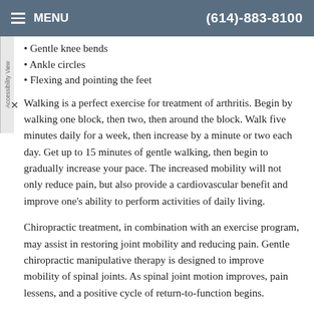MENU  (614)-883-8100
Gentle knee bends
Ankle circles
Flexing and pointing the feet
Walking is a perfect exercise for treatment of arthritis. Begin by walking one block, then two, then around the block. Walk five minutes daily for a week, then increase by a minute or two each day. Get up to 15 minutes of gentle walking, then begin to gradually increase your pace. The increased mobility will not only reduce pain, but also provide a cardiovascular benefit and improve one's ability to perform activities of daily living.
Chiropractic treatment, in combination with an exercise program, may assist in restoring joint mobility and reducing pain. Gentle chiropractic manipulative therapy is designed to improve mobility of spinal joints. As spinal joint motion improves, pain lessens, and a positive cycle of return-to-function begins.